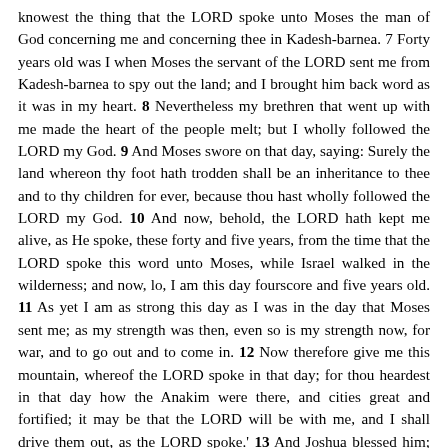knowest the thing that the LORD spoke unto Moses the man of God concerning me and concerning thee in Kadesh-barnea. 7 Forty years old was I when Moses the servant of the LORD sent me from Kadesh-barnea to spy out the land; and I brought him back word as it was in my heart. 8 Nevertheless my brethren that went up with me made the heart of the people melt; but I wholly followed the LORD my God. 9 And Moses swore on that day, saying: Surely the land whereon thy foot hath trodden shall be an inheritance to thee and to thy children for ever, because thou hast wholly followed the LORD my God. 10 And now, behold, the LORD hath kept me alive, as He spoke, these forty and five years, from the time that the LORD spoke this word unto Moses, while Israel walked in the wilderness; and now, lo, I am this day fourscore and five years old. 11 As yet I am as strong this day as I was in the day that Moses sent me; as my strength was then, even so is my strength now, for war, and to go out and to come in. 12 Now therefore give me this mountain, whereof the LORD spoke in that day; for thou heardest in that day how the Anakim were there, and cities great and fortified; it may be that the LORD will be with me, and I shall drive them out, as the LORD spoke.' 13 And Joshua blessed him; and he gave Hebron unto Caleb the son of Jephunneh for an inheritance. 14 Therefore Hebron became the inheritance of Caleb the son of Jephunneh the Kenizzite, unto this day; because that he wholly followed the LORD, the God of Israel. 15 Now the name of Hebron beforetime was Kiriath-arba, which Arba was the greatest